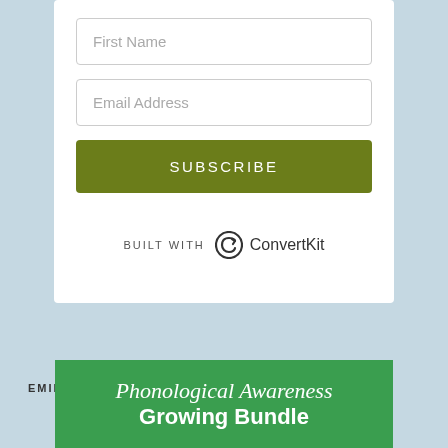First Name
Email Address
SUBSCRIBE
[Figure (logo): BUILT WITH ConvertKit logo with circular arrow icon]
EMILY'S RESOURCES
[Figure (illustration): Green banner with text: Phonological Awareness Growing Bundle]